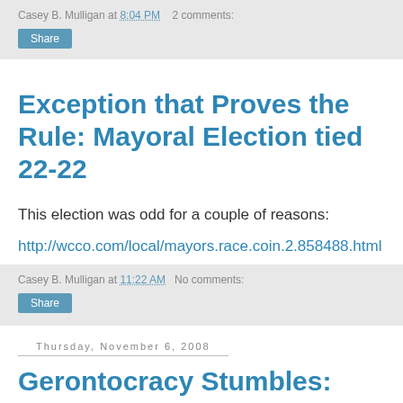Casey B. Mulligan at 8:04 PM   2 comments:
Share
Exception that Proves the Rule: Mayoral Election tied 22-22
This election was odd for a couple of reasons:
http://wcco.com/local/mayors.race.coin.2.858488.html
Casey B. Mulligan at 11:22 AM   No comments:
Share
Thursday, November 6, 2008
Gerontocracy Stumbles: The Real Political News This Year?